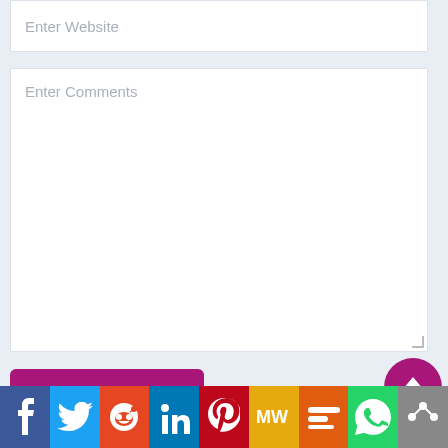Enter Website
Enter Comments
Post Comment
[Figure (infographic): Social media sharing bar with icons: Facebook, Twitter, Reddit, LinkedIn, Pinterest, MixedWire (MW), Mix, WhatsApp, More (share icon)]